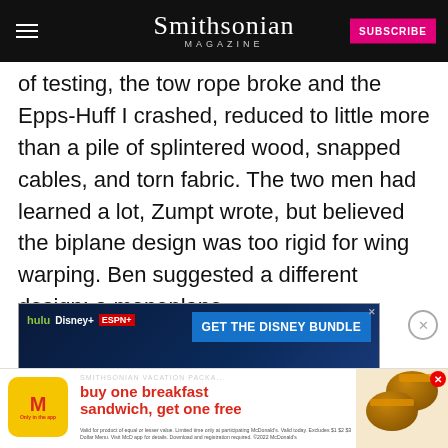Smithsonian MAGAZINE — SUBSCRIBE
of testing, the tow rope broke and the Epps-Huff I crashed, reduced to little more than a pile of splintered wood, snapped cables, and torn fabric. The two men had learned a lot, Zumpt wrote, but believed the biplane design was too rigid for wing warping. Ben suggested a different design: a monoplane.
[Figure (screenshot): Disney Bundle advertisement: Hulu, Disney+, ESPN+ logos with 'GET THE DISNEY BUNDLE' call to action button. Fine print: Incl. Hulu (ad-supported) or Hulu (No Ads). Access content from each service separately. ©2021 Disney and its related entities.]
[Figure (screenshot): McDonald's advertisement: 'buy one breakfast sandwich, get one free' promotion. Only in the app. Fine print about equal or lesser value, limited time, participating McDonald's.]